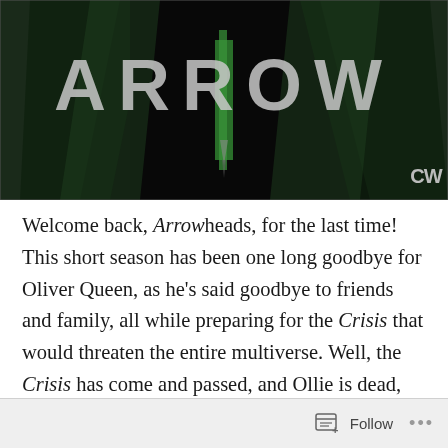[Figure (screenshot): Arrow TV show title card with the word ARROW in large stylized letters against a dark green and black background, with the CW network logo in the bottom right corner.]
Welcome back, Arrowheads, for the last time! This short season has been one long goodbye for Oliver Queen, as he's said goodbye to friends and family, all while preparing for the Crisis that would threaten the entire multiverse. Well, the Crisis has come and passed, and Ollie is dead, having created a new universe for all his loved ones that is slightly different than the one his extended family remembers. And while we have seen how this new universe has affected other heroes, we only know about